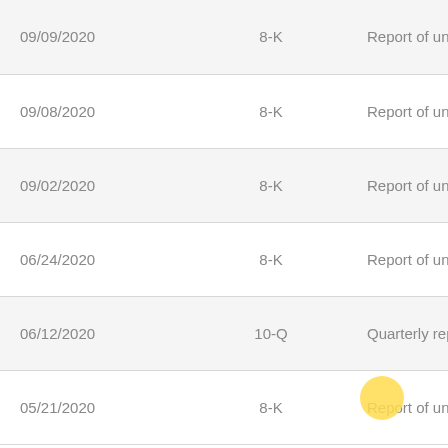| Date | Form | Description |
| --- | --- | --- |
| 09/09/2020 | 8-K | Report of unscheduled mate... |
| 09/08/2020 | 8-K | Report of unscheduled mate... |
| 09/02/2020 | 8-K | Report of unscheduled mate... |
| 06/24/2020 | 8-K | Report of unscheduled mate... |
| 06/12/2020 | 10-Q | Quarterly report which provi... |
| 05/21/2020 | 8-K | Report of unscheduled mate... |